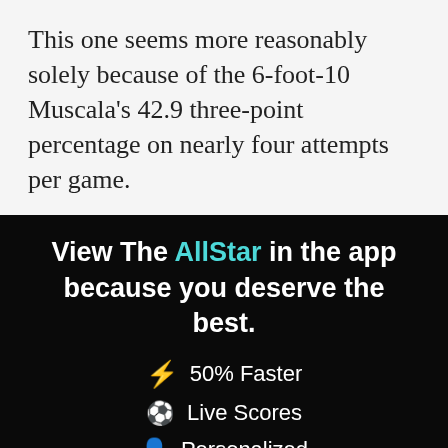This one seems more reasonably solely because of the 6-foot-10 Muscala's 42.9 three-point percentage on nearly four attempts per game.
View The AllStar in the app because you deserve the best.
⚡ 50% Faster
⚽ Live Scores
👤 Personalized
CONTINUE
or go to the mobile site